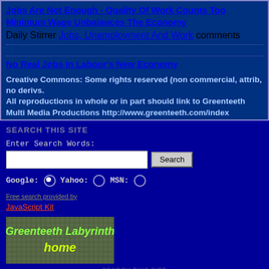Jobs Are Not Enough - Quality Of Work Counts Too
Minimum Wage Unbalances The Economy
Daily Stirrer Jobs, Unemployment And Work comments
No Real Jobs In Labour's New Economy
Creative Commons: Some rights reserved (non commercial, attrib, no derivs. All reproductions in whole or in part should link to Greenteeth Multi Media Productions http://www.greenteeth.com/index
SEARCH THIS SITE
Enter Search Words:
Google: Yahoo: MSN:
JavaScript Kit
[Figure (illustration): Greenteeth Labyrinth home banner image - green text on textured background]
SEARCH THIS SITE